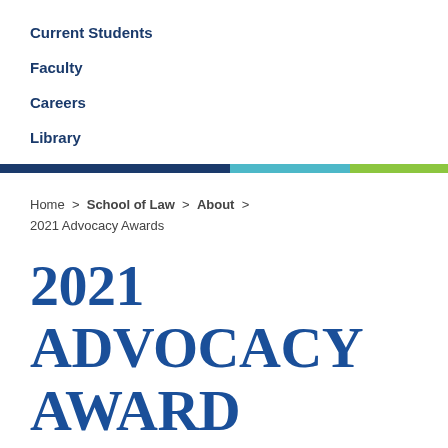Current Students
Faculty
Careers
Library
Home > School of Law > About > 2021 Advocacy Awards
2021 ADVOCACY AWARD WINNERS ANNOUNCED